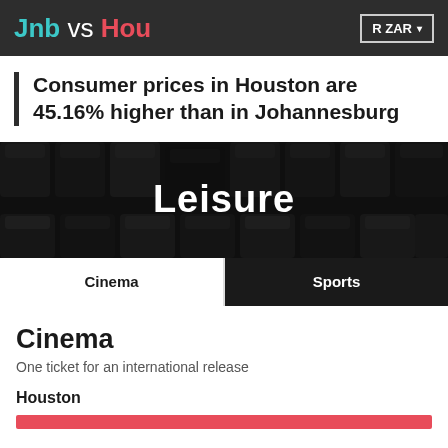Jnb vs Hou  R ZAR
Consumer prices in Houston are 45.16% higher than in Johannesburg
[Figure (photo): Dark background image of cinema/theater seats with the word 'Leisure' overlaid in large white bold text]
Cinema  Sports
Cinema
One ticket for an international release
Houston